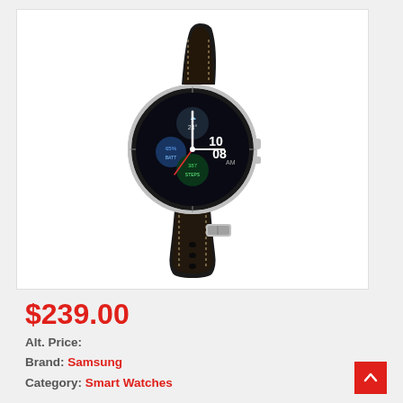[Figure (photo): Samsung Galaxy Watch 3 smartwatch with black leather strap and silver case, showing watch face with multiple complications including weather, fitness tracking dials, and time displaying 10:08]
$239.00
Alt. Price:
Brand: Samsung
Category: Smart Watches